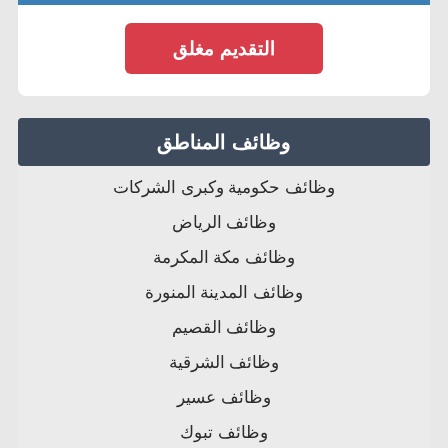التقديم مغلق
وظائف المناطق
وظائف حكومية وكبرى الشركات
وظائف الرياض
وظائف مكة المكرمة
وظائف المدينة المنورة
وظائف القصيم
وظائف الشرقية
وظائف عسير
وظائف تبوك
وظائف حائل
وظائف الشمال